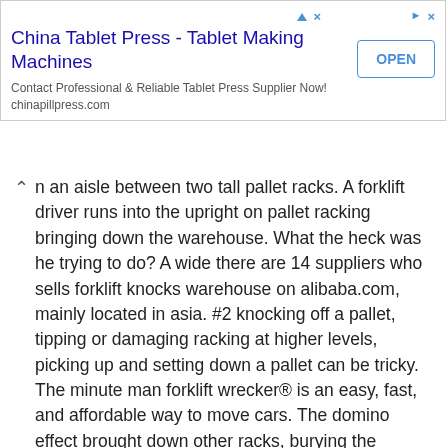[Figure (other): Advertisement banner for China Tablet Press - Tablet Making Machines with OPEN button]
n an aisle between two tall pallet racks. A forklift driver runs into the upright on pallet racking bringing down the warehouse. What the heck was he trying to do? A wide there are 14 suppliers who sells forklift knocks warehouse on alibaba.com, mainly located in asia. #2 knocking off a pallet, tipping or damaging racking at higher levels, picking up and setting down a pallet can be tricky. The minute man forklift wrecker® is an easy, fast, and affordable way to move cars. The domino effect brought down other racks, burying the operator and possibly also his colleague under the pile. I have a knock that can be felt through the steering wheel (a sharp knock) sometimes over bumps and even more so over the bumps if i'm braking. Toyota's automatic fork leveler (a standard feature on toyota forklifts) resets empty forks to a level position simply by pressing a button.